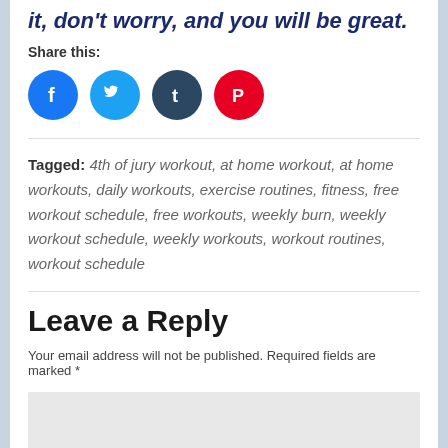it, don't worry, and you will be great.
Share this:
[Figure (illustration): Four social media share icons: Facebook (blue), Twitter (light blue), Tumblr (dark blue), Pinterest (red)]
Tagged: 4th of jury workout, at home workout, at home workouts, daily workouts, exercise routines, fitness, free workout schedule, free workouts, weekly burn, weekly workout schedule, weekly workouts, workout routines, workout schedule
Leave a Reply
Your email address will not be published. Required fields are marked *